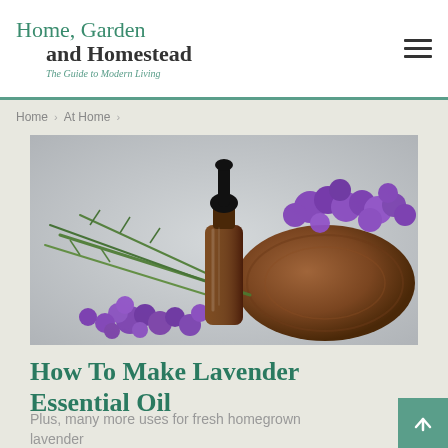Home, Garden and Homestead – The Guide to Modern Living
Home › At Home ›
[Figure (photo): A brown amber dropper bottle with black cap surrounded by fresh purple lavender flowers and green stems, resting near a rustic wooden slice, on a light grey background.]
How To Make Lavender Essential Oil
Plus, many more uses for fresh homegrown lavender